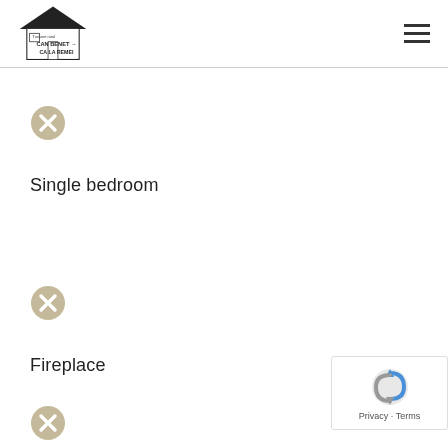Turisme rural CAN BENET - CA LA REMEI
[Figure (illustration): Circular icon with X mark (tan/beige color) indicating unavailable/not included amenity]
Single bedroom
[Figure (illustration): Circular icon with X mark (tan/beige color) indicating unavailable/not included amenity]
Fireplace
[Figure (illustration): Circular icon with X mark (tan/beige color) indicating unavailable/not included amenity]
[Figure (other): reCAPTCHA badge with Privacy and Terms links]